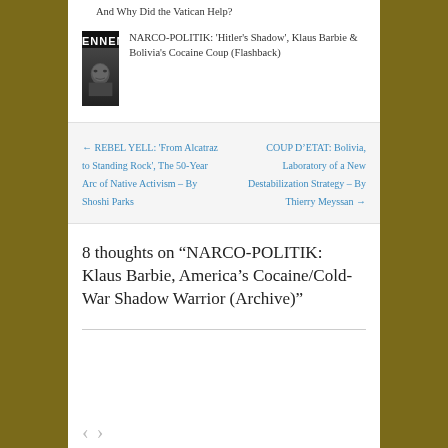And Why Did the Vatican Help?
NARCO-POLITIK: ‘Hitler’s Shadow’, Klaus Barbie & Bolivia’s Cocaine Coup (Flashback)
← REBEL YELL: ‘From Alcatraz to Standing Rock’, The 50-Year Arc of Native Activism – By Shoshi Parks
COUP D’ETAT: Bolivia, Laboratory of a New Destabilization Strategy – By Thierry Meyssan →
8 thoughts on “NARCO-POLITIK: Klaus Barbie, America’s Cocaine/Cold-War Shadow Warrior (Archive)”